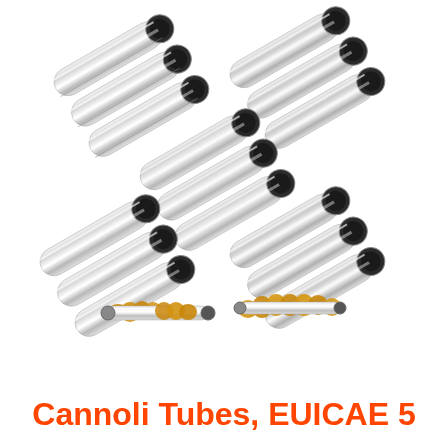[Figure (photo): Product photo showing multiple sets of stainless steel cannoli tubes arranged in groups of four sets (each with 3 tubes), plus two individual cannoli tubes shown below with pastry dough wrapped around them demonstrating their use.]
Cannoli Tubes, EUICAE 5